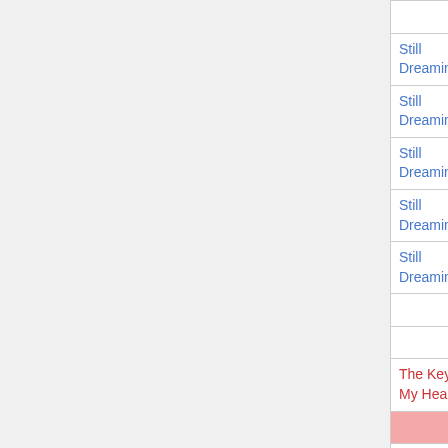| Link | File |
| --- | --- |
|  | Song Notes.docx |
| Still Dreaming | Still Dreaming   3 @66.6667 -6 -3.mp3 |
| Still Dreaming | Still Dreaming   3 @66.6667 -6 -3-1.mp3 |
| Still Dreaming | still dreaming   4 @67 -6 to -3.mp3 |
| Still Dreaming | Still Dreaming   5 solo @67 -6 -3.mp3 |
| Still Dreaming | Still Dreaming  6 instrumental -6 to -3.mp3 |
|  | that wonderful you options.csv |
|  | that wonderful you options.html |
| The Key to My Heart | The Key To My Heart   2 AL @73 |
|  | TheSpaceBetween_2017_RW_2.pdf |
| I See | Today I Ro... @67 -3.mp3 |